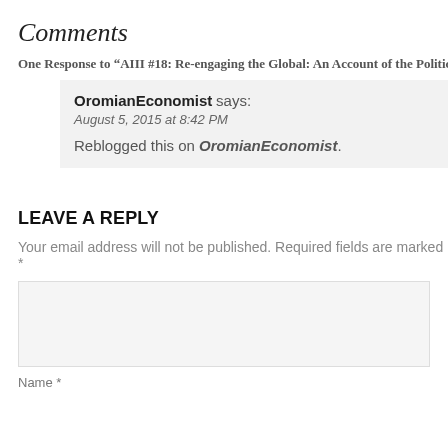Comments
One Response to “AIII #18: Re-engaging the Global: An Account of the Political and
OromianEconomist says:
August 5, 2015 at 8:42 PM
Reblogged this on OromianEconomist.
LEAVE A REPLY
Your email address will not be published. Required fields are marked *
Name *